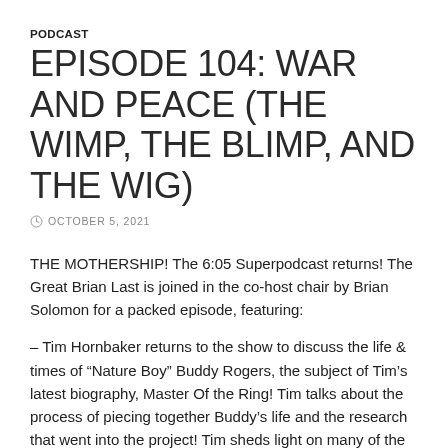PODCAST
EPISODE 104: WAR AND PEACE (THE WIMP, THE BLIMP, AND THE WIG)
OCTOBER 5, 2021
THE MOTHERSHIP! The 6:05 Superpodcast returns! The Great Brian Last is joined in the co-host chair by Brian Solomon for a packed episode, featuring:
– Tim Hornbaker returns to the show to discuss the life & times of “Nature Boy” Buddy Rogers, the subject of Tim’s latest biography, Master Of the Ring! Tim talks about the process of piecing together Buddy’s life and the research that went into the project! Tim sheds light on many of the mysteries